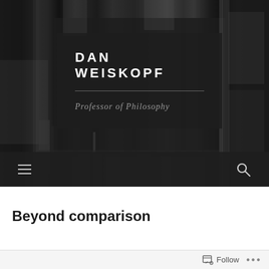[Figure (photo): Black and white blurred bookshelf/library background photo serving as hero image for Dan Weiskopf's academic website]
DAN WEISKOPF
Professor of Philosophy
[Figure (screenshot): Dark navigation bar with hamburger menu icon on the left and search icon on the right]
Beyond comparison
[Figure (screenshot): Follow bar at the bottom with Follow button and ellipsis menu (…)]